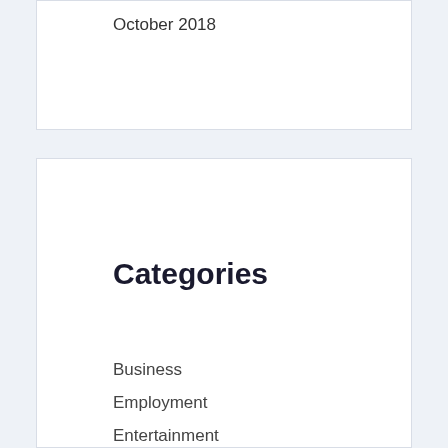October 2018
Categories
Business
Employment
Entertainment
Fashion
Food
Food and Drink
Fruit